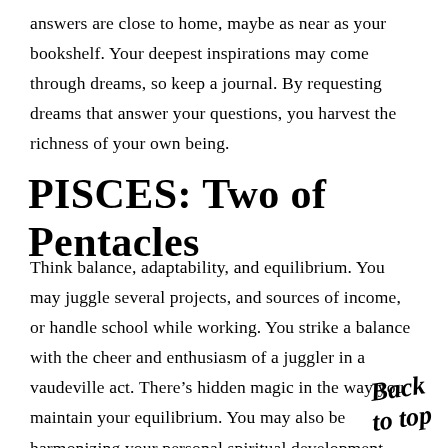answers are close to home, maybe as near as your bookshelf. Your deepest inspirations may come through dreams, so keep a journal. By requesting dreams that answer your questions, you harvest the richness of your own being.
PISCES: Two of Pentacles
Think balance, adaptability, and equilibrium. You may juggle several projects, and sources of income, or handle school while working. You strike a balance with the cheer and enthusiasm of a juggler in a vaudeville act. There's hidden magic in the way you maintain your equilibrium. You may also be harmonizing your personal spiritual development with outer material growth. The key is to avoid spreading yourself too thin. If you're unable to find time with your partner, it's worth it to make adjustments to